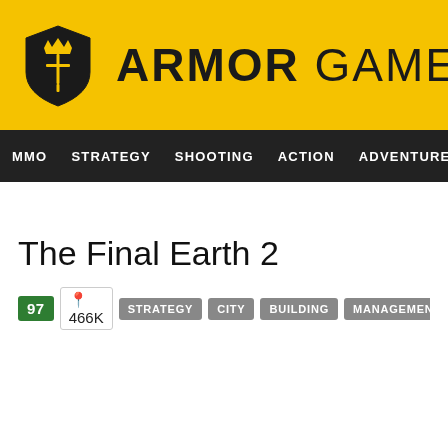ARMOR GAMES
MMO  STRATEGY  SHOOTING  ACTION  ADVENTURE  P
The Final Earth 2
97  466K  STRATEGY  CITY  BUILDING  MANAGEMENT  SCIENCE FICTION